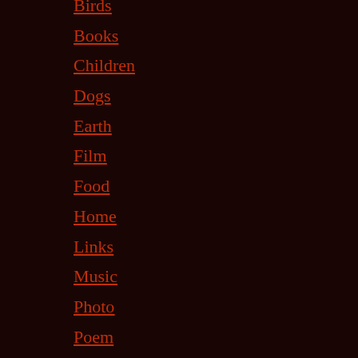Birds
Books
Children
Dogs
Earth
Film
Food
Home
Links
Music
Photo
Poem
Site news
Technology
Television